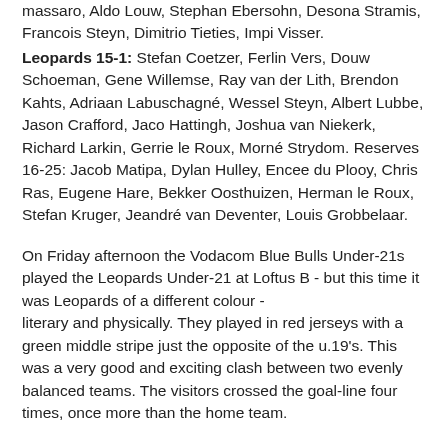massaro, Aldo Louw, Stephan Ebersohn, Desona Stramis, Francois Steyn, Dimitrio Tieties, Impi Visser.
Leopards 15-1: Stefan Coetzer, Ferlin Vers, Douw Schoeman, Gene Willemse, Ray van der Lith, Brendon Kahts, Adriaan Labuschagné, Wessel Steyn, Albert Lubbe, Jason Crafford, Jaco Hattingh, Joshua van Niekerk, Richard Larkin, Gerrie le Roux, Morné Strydom. Reserves 16-25: Jacob Matipa, Dylan Hulley, Encee du Plooy, Chris Ras, Eugene Hare, Bekker Oosthuizen, Herman le Roux, Stefan Kruger, Jeandré van Deventer, Louis Grobbelaar.
On Friday afternoon the Vodacom Blue Bulls Under-21s played the Leopards Under-21 at Loftus B - but this time it was Leopards of a different colour - literary and physically. They played in red jerseys with a green middle stripe just the opposite of the u.19's. This was a very good and exciting clash between two evenly balanced teams. The visitors crossed the goal-line four times, once more than the home team.